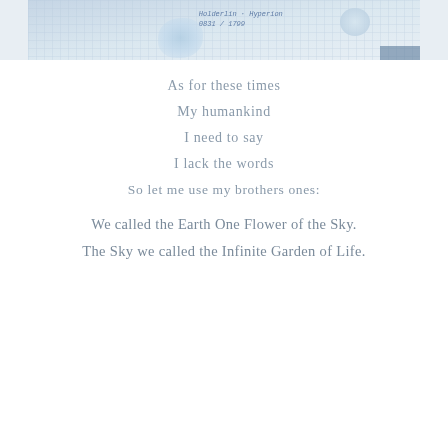[Figure (photo): A partial photograph showing a blue-tinted image with a grid-paper overlay, a handwritten signature, a soft blue floral or fabric shape, and a round object, cropped at top of page.]
As for these times
My humankind
I need to say
I lack the words
So let me use my brothers ones:
We called the Earth One Flower of the Sky.
The Sky we called the Infinite Garden of Life.